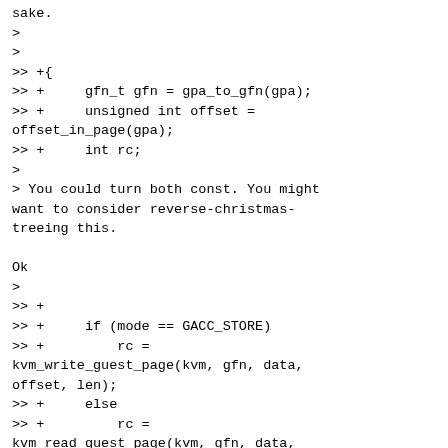sake.
>
>
>> +{
>> +     gfn_t gfn = gpa_to_gfn(gpa);
>> +     unsigned int offset = offset_in_page(gpa);
>> +     int rc;
>
> You could turn both const. You might want to consider reverse-christmas-treeing this.

Ok
>
>> +
>> +     if (mode == GACC_STORE)
>> +         rc = kvm_write_guest_page(kvm, gfn, data, offset, len);
>> +     else
>> +         rc = kvm_read_guest_page(kvm, gfn, data, offset, len);
>
> Personally, I prefer passing in pfn + offset instead of a gpa. Also avoids having to convert back and forth.

In access_guest_real we get back the